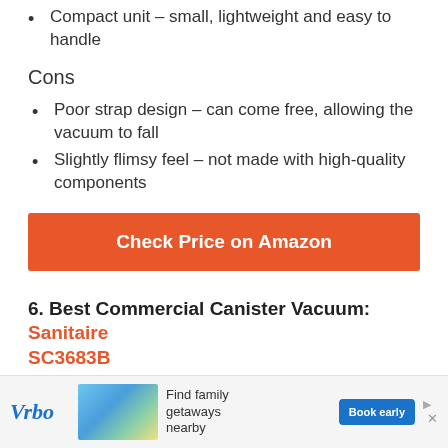Compact unit – small, lightweight and easy to handle
Cons
Poor strap design – can come free, allowing the vacuum to fall
Slightly flimsy feel – not made with high-quality components
Check Price on Amazon
6. Best Commercial Canister Vacuum: Sanitaire SC3683B
[Figure (other): Vrbo advertisement banner — Find family getaways nearby with Book early button]